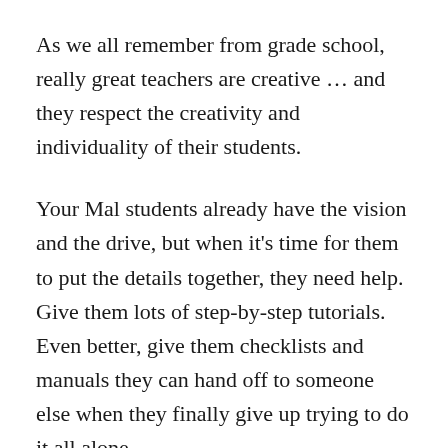As we all remember from grade school, really great teachers are creative … and they respect the creativity and individuality of their students.
Your Mal students already have the vision and the drive, but when it's time for them to put the details together, they need help. Give them lots of step-by-step tutorials. Even better, give them checklists and manuals they can hand off to someone else when they finally give up trying to do it all alone.
Your Zoe students know how to work and